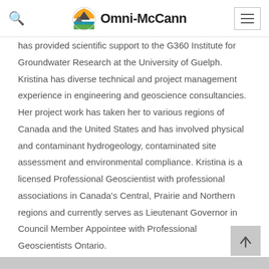Omni-McCann
has provided scientific support to the G360 Institute for Groundwater Research at the University of Guelph. Kristina has diverse technical and project management experience in engineering and geoscience consultancies. Her project work has taken her to various regions of Canada and the United States and has involved physical and contaminant hydrogeology, contaminated site assessment and environmental compliance. Kristina is a licensed Professional Geoscientist with professional associations in Canada’s Central, Prairie and Northern regions and currently serves as Lieutenant Governor in Council Member Appointee with Professional Geoscientists Ontario.